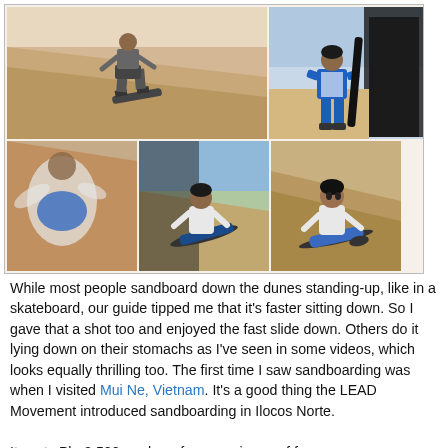[Figure (photo): Photo collage of sandboarding activities at Ilocos Norte Sand Dunes. Top left: person sandboarding standing on a board down sandy dunes. Top right: person in blue tracksuit walking on sand with a board. Bottom left: person in white shirt and blue shorts falling/running on dunes (blurred). Bottom center: person sitting on sandboard sliding down dune. Bottom right: person sitting on sandboard on sandy slope.]
While most people sandboard down the dunes standing-up, like in a skateboard, our guide tipped me that it's faster sitting down. So I gave that a shot too and enjoyed the fast slide down. Others do it lying down on their stomachs as I've seen in some videos, which looks equally thrilling too. The first time I saw sandboarding was when I visited Mui Ne, Vietnam. It's a good thing the LEAD Movement introduced sandboarding in Ilocos Norte.

It costs Php2,500 per hour for a maximum of four persons, transportation included, if you want to sandboard in the Ilocos Norte Sand Dunes. But please check since prices may change. It's definitely an experience!